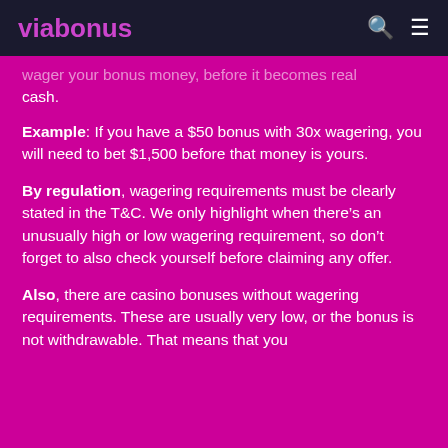viabonus
wager your bonus money before it becomes real cash.
Example: If you have a $50 bonus with 30x wagering, you will need to bet $1,500 before that money is yours.
By regulation, wagering requirements must be clearly stated in the T&C. We only highlight when there’s an unusually high or low wagering requirement, so don’t forget to also check yourself before claiming any offer.
Also, there are casino bonuses without wagering requirements. These are usually very low, or the bonus is not withdrawable. That means that you